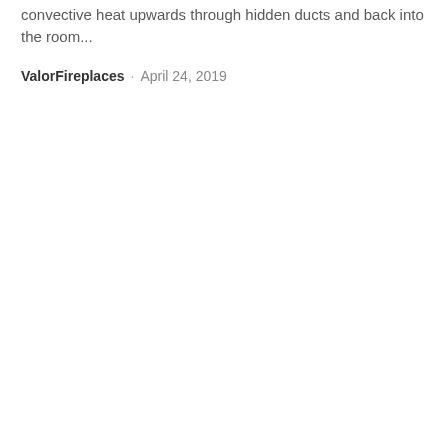convective heat upwards through hidden ducts and back into the room...
ValorFireplaces · April 24, 2019